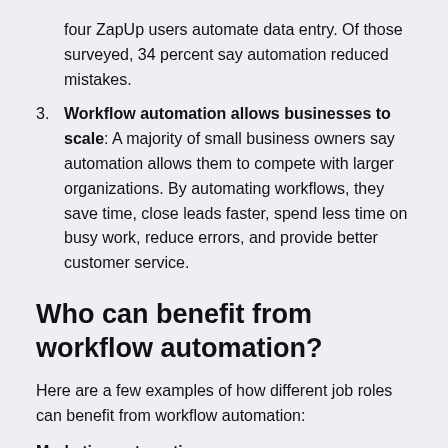four ZapUp users automate data entry. Of those surveyed, 34 percent say automation reduced mistakes.
3. Workflow automation allows businesses to scale: A majority of small business owners say automation allows them to compete with larger organizations. By automating workflows, they save time, close leads faster, spend less time on busy work, reduce errors, and provide better customer service.
Who can benefit from workflow automation?
Here are a few examples of how different job roles can benefit from workflow automation:
Marketing automation